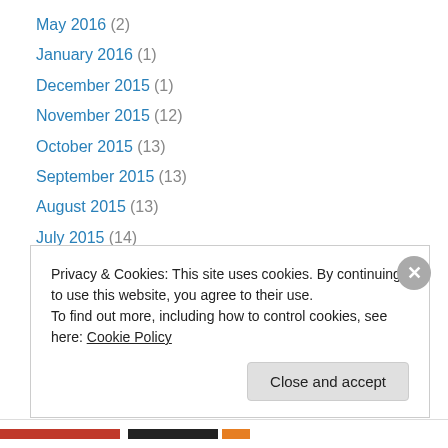May 2016 (2)
January 2016 (1)
December 2015 (1)
November 2015 (12)
October 2015 (13)
September 2015 (13)
August 2015 (13)
July 2015 (14)
June 2015 (13)
May 2015 (12)
April 2015 (20)
March 2015 (21)
February 2015 (18)
Privacy & Cookies: This site uses cookies. By continuing to use this website, you agree to their use. To find out more, including how to control cookies, see here: Cookie Policy
Close and accept